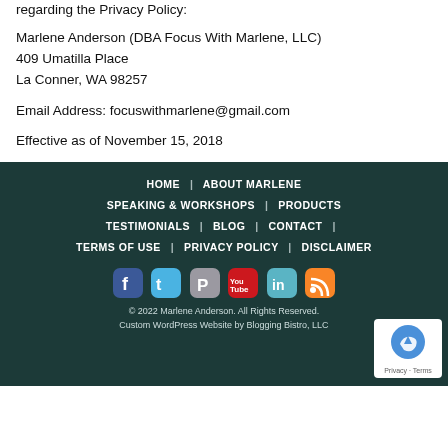regarding the Privacy Policy:
Marlene Anderson (DBA Focus With Marlene, LLC)
409 Umatilla Place
La Conner, WA 98257
Email Address: focuswithmarlene@gmail.com
Effective as of November 15, 2018
HOME | ABOUT MARLENE | SPEAKING & WORKSHOPS | PRODUCTS | TESTIMONIALS | BLOG | CONTACT | TERMS OF USE | PRIVACY POLICY | DISCLAIMER
© 2022 Marlene Anderson. All Rights Reserved.
Custom WordPress Website by Blogging Bistro, LLC